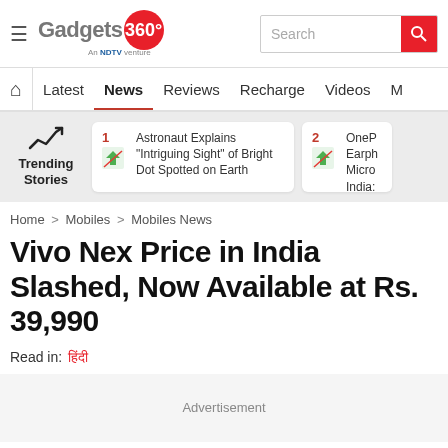Gadgets 360 — An NDTV venture | Search bar
Navigation: Latest | News | Reviews | Recharge | Videos | M...
Trending Stories: 1. Astronaut Explains "Intriguing Sight" of Bright Dot Spotted on Earth | 2. OnePlus Earph... Micro... India...
Home > Mobiles > Mobiles News
Vivo Nex Price in India Slashed, Now Available at Rs. 39,990
Read in: हिंदी
Advertisement